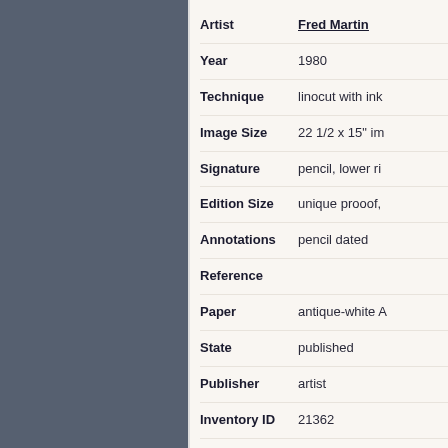| Field | Value |
| --- | --- |
| Artist | Fred Martin |
| Year | 1980 |
| Technique | linocut with ink |
| Image Size | 22 1/2 x 15" im |
| Signature | pencil, lower ri |
| Edition Size | unique prooof, |
| Annotations | pencil dated |
| Reference |  |
| Paper | antique-white A |
| State | published |
| Publisher | artist |
| Inventory ID | 21362 |
| Price | $275.00 |
| Description | Fred Martin wa |